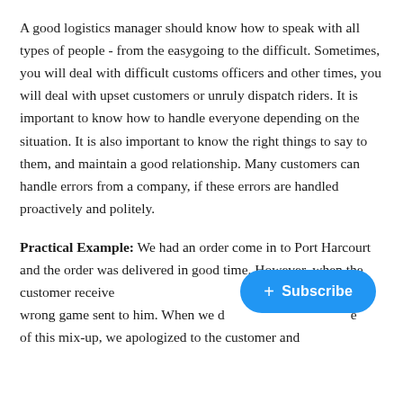A good logistics manager should know how to speak with all types of people - from the easygoing to the difficult. Sometimes, you will deal with difficult customs officers and other times, you will deal with upset customers or unruly dispatch riders. It is important to know how to handle everyone depending on the situation. It is also important to know the right things to say to them, and maintain a good relationship. Many customers can handle errors from a company, if these errors are handled proactively and politely.
Practical Example: We had an order come in to Port Harcourt and the order was delivered in good time. However, when the customer received [the order, there was a] wrong game sent to him. When we [were notified] of this mix-up, we apologized to the customer and